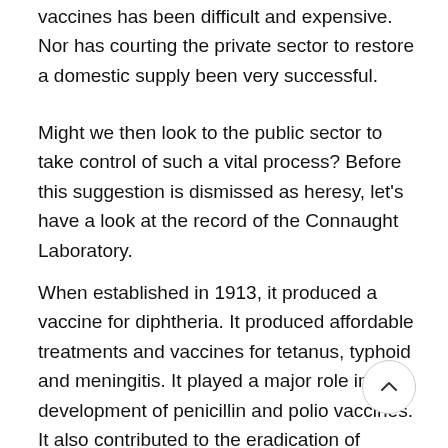vaccines has been difficult and expensive. Nor has courting the private sector to restore a domestic supply been very successful.
Might we then look to the public sector to take control of such a vital process? Before this suggestion is dismissed as heresy, let's have a look at the record of the Connaught Laboratory.
When established in 1913, it produced a vaccine for diphtheria. It produced affordable treatments and vaccines for tetanus, typhoid and meningitis. It played a major role in the development of penicillin and polio vaccines. It also contributed to the eradication of smallpox.